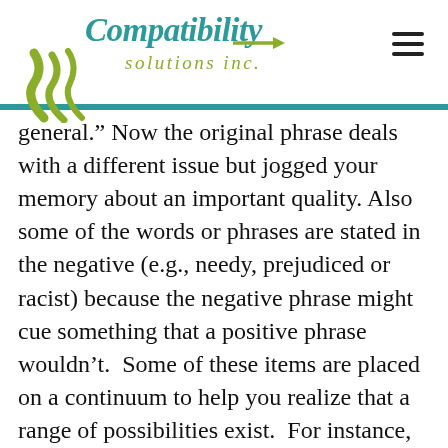Compatibility solutions inc.
general." Now the original phrase deals with a different issue but jogged your memory about an important quality. Also some of the words or phrases are stated in the negative (e.g., needy, prejudiced or racist) because the negative phrase might cue something that a positive phrase wouldn’t.  Some of these items are placed on a continuum to help you realize that a range of possibilities exist.  For instance, #5 is critical vs. appreciative.  Now, only someone who is verifiably insane would